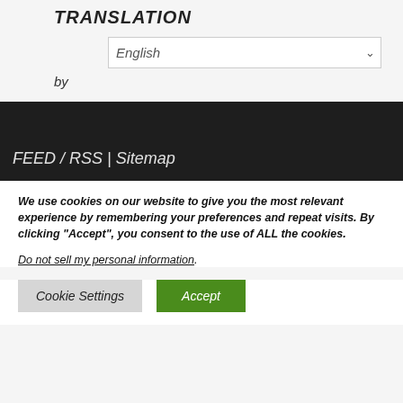TRANSLATION
English
by
FEED / RSS | Sitemap
We use cookies on our website to give you the most relevant experience by remembering your preferences and repeat visits. By clicking “Accept”, you consent to the use of ALL the cookies.
Do not sell my personal information.
Cookie Settings
Accept